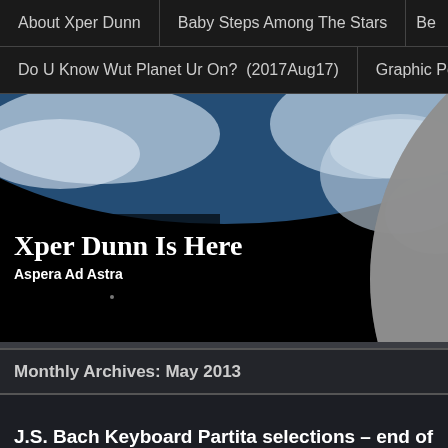About Xper Dunn | Baby Steps Among The Stars | Be...
Do U Know Wut Planet Ur On? (2017Aug17) | Graphic Poen...
[Figure (photo): Hero image of Earth from space with large moon in foreground, dark space background. Text overlay: 'Xper Dunn Is Here' and 'Aspera Ad Astra']
Monthly Archives: May 2013
[Figure (photo): Dark space/nebula background image for blog post section]
J.S. Bach Keyboard Partita selections – end of h... the E Min (2013May30)
Posted by XperDunn on May 31, 2013